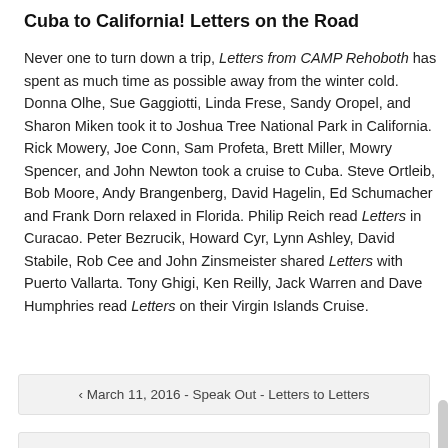Cuba to California! Letters on the Road
Never one to turn down a trip, Letters from CAMP Rehoboth has spent as much time as possible away from the winter cold. Donna Olhe, Sue Gaggiotti, Linda Frese, Sandy Oropel, and Sharon Miken took it to Joshua Tree National Park in California. Rick Mowery, Joe Conn, Sam Profeta, Brett Miller, Mowry Spencer, and John Newton took a cruise to Cuba. Steve Ortleib, Bob Moore, Andy Brangenberg, David Hagelin, Ed Schumacher and Frank Dorn relaxed in Florida. Philip Reich read Letters in Curacao. Peter Bezrucik, Howard Cyr, Lynn Ashley, David Stabile, Rob Cee and John Zinsmeister shared Letters with Puerto Vallarta. Tony Ghigi, Ken Reilly, Jack Warren and Dave Humphries read Letters on their Virgin Islands Cruise.
‹ March 11, 2016 - Speak Out - Letters to Letters
March 11, 2016 - CAMPmatters by Murray Archibald ›